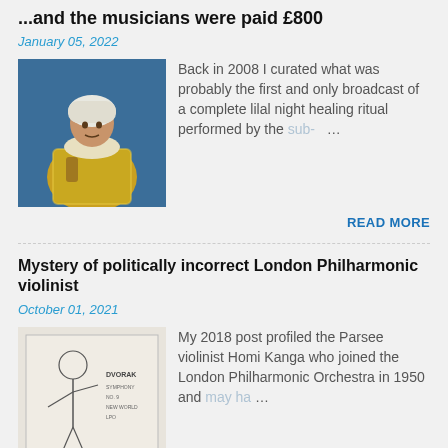...and the musicians were paid £800
January 05, 2022
[Figure (photo): Photo of a musician in traditional North African dress with yellow/gold patterned robe and white head wrap, playing an instrument, against a blue background.]
Back in 2008 I curated what was probably the first and only broadcast of a complete lilal night healing ritual performed by the sub-…
READ MORE
Mystery of politically incorrect London Philharmonic violinist
October 01, 2021
[Figure (photo): Album cover or sketch image showing a line drawing of a violinist, with text reading DVORAK on the cover, in black and white/cream tones.]
My 2018 post profiled the Parsee violinist Homi Kanga who joined the London Philharmonic Orchestra in 1950 and may ha…
READ MORE